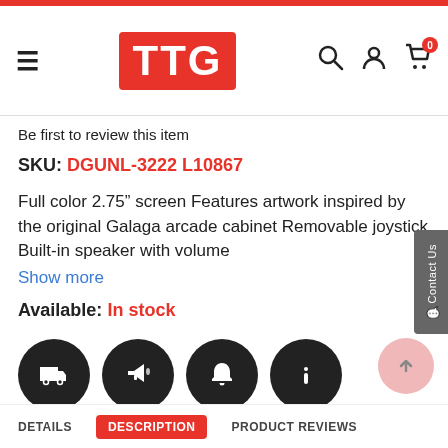TTG — Website header with navigation, search, account and cart icons
Be first to review this item
SKU: DGUNL-3222 L10867
Full color 2.75" screen Features artwork inspired by the original Galaga arcade cabinet Removable joystick Built-in speaker with volume
Show more
Available: In stock
[Figure (infographic): Four circular dark icon buttons: delivery truck, megaphone/announcement, bell/notification, info (i)]
DETAILS | DESCRIPTION | PRODUCT REVIEWS